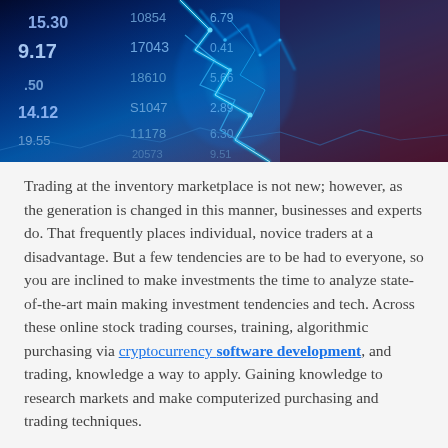[Figure (photo): Stock market trading screen with glowing blue numbers, charts and financial data including values like 15.30, 9.17, 14.12, 10854, 17043, 18610, S1047, 11178, 6.79, 0.41, 5.66, 2.89 on a dark blue background with bright blue lightning/network graphic overlay]
Trading at the inventory marketplace is not new; however, as the generation is changed in this manner, businesses and experts do. That frequently places individual, novice traders at a disadvantage. But a few tendencies are to be had to everyone, so you are inclined to make investments the time to analyze state-of-the-art main making investment tendencies and tech. Across these online stock trading courses, training, algorithmic purchasing via cryptocurrency software development, and trading, knowledge a way to apply. Gaining knowledge to research markets and make computerized purchasing and trading techniques.